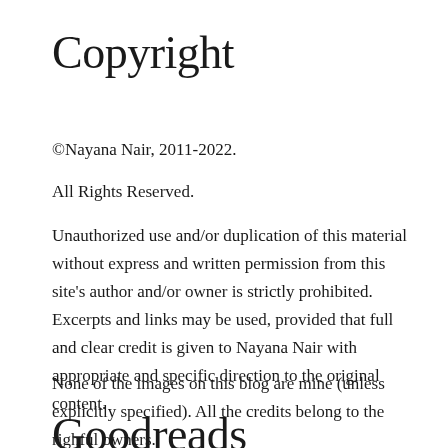Copyright
©Nayana Nair, 2011-2022.
All Rights Reserved.
Unauthorized use and/or duplication of this material without express and written permission from this site's author and/or owner is strictly prohibited. Excerpts and links may be used, provided that full and clear credit is given to Nayana Nair with appropriate and specific direction to the original content.
None of the images on this blog are mine (unless explicitly specified). All the credits belong to the righful owners.
Goodreads